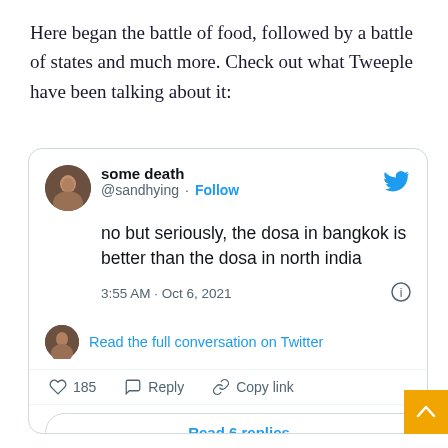Here began the battle of food, followed by a battle of states and much more. Check out what Tweeple have been talking about it:
[Figure (screenshot): Embedded tweet screenshot from user 'some death' (@sandhying) with text: 'no but seriously, the dosa in bangkok is better than the dosa in north india', posted at 3:55 AM · Oct 6, 2021, with 185 likes, options to Reply, Copy link, and Read 6 replies.]